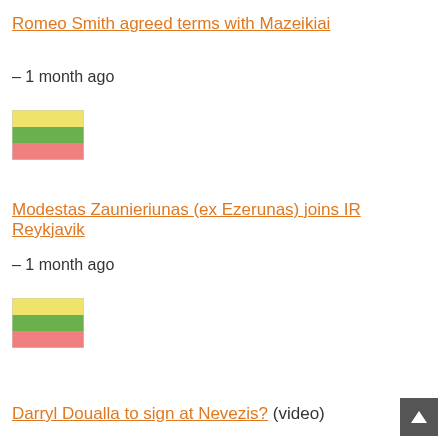Romeo Smith agreed terms with Mazeikiai
– 1 month ago
[Figure (illustration): Lithuanian flag (yellow, green, red horizontal stripes)]
Modestas Zaunieriunas (ex Ezerunas) joins IR Reykjavik
– 1 month ago
[Figure (illustration): Lithuanian flag (yellow, green, red horizontal stripes)]
Darryl Doualla to sign at Nevezis? (video)